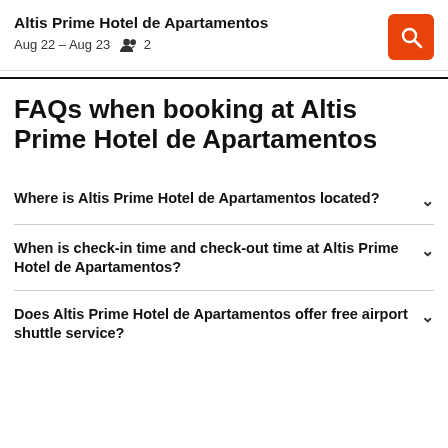Altis Prime Hotel de Apartamentos
Aug 22 – Aug 23   👥 2
FAQs when booking at Altis Prime Hotel de Apartamentos
Where is Altis Prime Hotel de Apartamentos located?
When is check-in time and check-out time at Altis Prime Hotel de Apartamentos?
Does Altis Prime Hotel de Apartamentos offer free airport shuttle service?